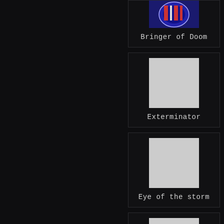[Figure (screenshot): Dark UI panel showing a list of game achievements/badges. Each card contains an image placeholder and a label. Visible items: 'Bringer of Doom' (top, partially visible with a colorful badge image), 'Exterminator' (grey placeholder image), 'Eye of the storm' (grey placeholder image), and a fourth card partially visible at the bottom with grey placeholder image.]
Bringer of Doom
Exterminator
Eye of the storm